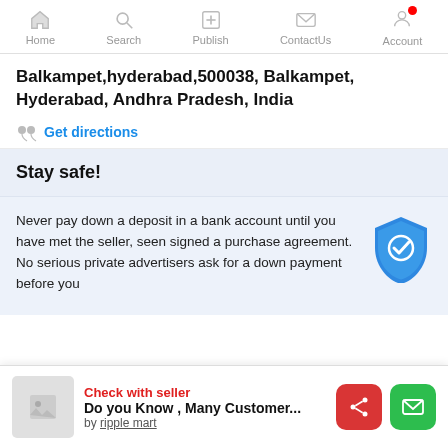Home  Search  Publish  ContactUs  Account
Balkampet,hyderabad,500038, Balkampet, Hyderabad, Andhra Pradesh, India
Get directions
Stay safe!
Never pay down a deposit in a bank account until you have met the seller, seen signed a purchase agreement. No serious private advertisers ask for a down payment before you
Check with seller
Do you Know , Many Customer...
by ripple mart